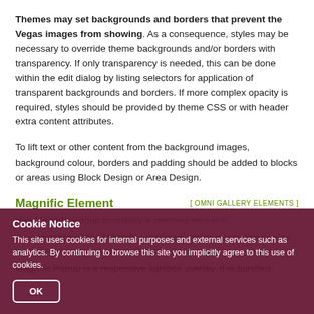Themes may set backgrounds and borders that prevent the Vegas images from showing. As a consequence, styles may be necessary to override theme backgrounds and/or borders with transparency. If only transparency is needed, this can be done within the edit dialog by listing selectors for application of transparent backgrounds and borders. If more complex opacity is required, styles should be provided by theme CSS or with header extra content attributes.
To lift text or other content from the background images, background colour, borders and padding should be added to blocks or areas using Block Design or Area Design.
Magnific Element
[ OMNI GALLERY ELEMENTS ]
Use Magnific Popup to display a selected element.
An adaptation of the Magnific Lightbox Overlay, where the overlay is rendered using a concrete5 element.
Magnific Popup is a responsive lightbox overlay. It is bundled.
Cookie Notice
This site uses cookies for internal purposes and external services such as analytics. By continuing to browse this site you implicitly agree to this use of cookies.
OK